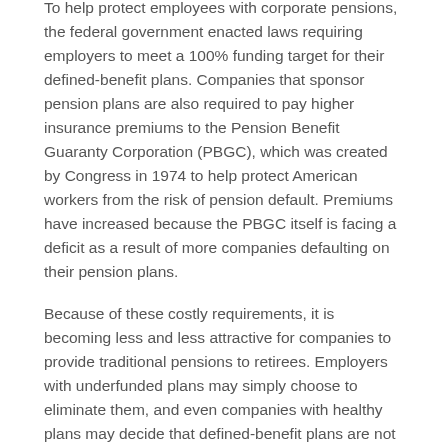To help protect employees with corporate pensions, the federal government enacted laws requiring employers to meet a 100% funding target for their defined-benefit plans. Companies that sponsor pension plans are also required to pay higher insurance premiums to the Pension Benefit Guaranty Corporation (PBGC), which was created by Congress in 1974 to help protect American workers from the risk of pension default. Premiums have increased because the PBGC itself is facing a deficit as a result of more companies defaulting on their pension plans.
Because of these costly requirements, it is becoming less and less attractive for companies to provide traditional pensions to retirees. Employers with underfunded plans may simply choose to eliminate them, and even companies with healthy plans may decide that defined-benefit plans are not worth the cost. As a result, it is likely that more companies will offer defined-contribution plans like the 401(k) to